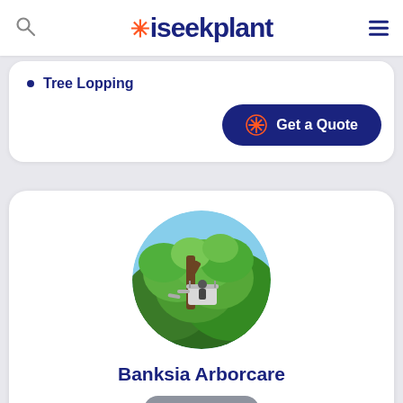iseekplant
Tree Lopping
Get a Quote
[Figure (photo): Circular profile photo showing a cherry picker / aerial work platform among green tree canopy against a blue sky, representing Banksia Arborcare.]
Banksia Arborcare
Unverified